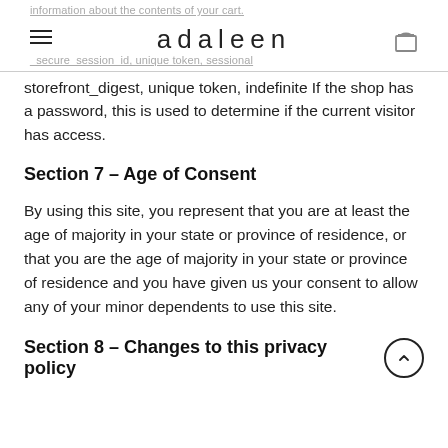information about the contents of your cart. adaleen _secure_session_id, unique token, sessional
storefront_digest, unique token, indefinite If the shop has a password, this is used to determine if the current visitor has access.
Section 7 – Age of Consent
By using this site, you represent that you are at least the age of majority in your state or province of residence, or that you are the age of majority in your state or province of residence and you have given us your consent to allow any of your minor dependents to use this site.
Section 8 – Changes to this privacy policy